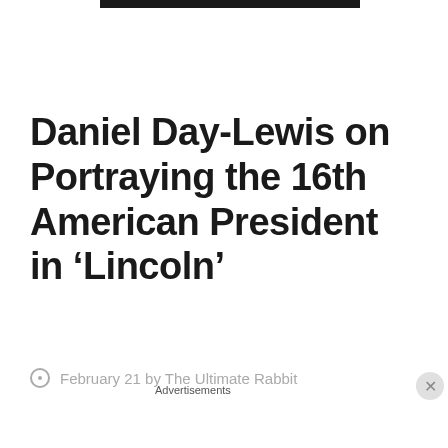Daniel Day-Lewis on Portraying the 16th American President in ‘Lincoln’
February 21 by The Ultimate Rabbit
Advertisements
[Figure (other): Victoria's Secret advertisement banner with model, VS logo, SHOP THE COLLECTION text, and SHOP NOW button]